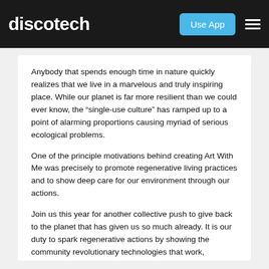discotech | Use App
Anybody that spends enough time in nature quickly realizes that we live in a marvelous and truly inspiring place. While our planet is far more resilient than we could ever know, the “single-use culture” has ramped up to a point of alarming proportions causing myriad of serious ecological problems.
One of the principle motivations behind creating Art With Me was precisely to promote regenerative living practices and to show deep care for our environment through our actions.
Join us this year for another collective push to give back to the planet that has given us so much already. It is our duty to spark regenerative actions by showing the community revolutionary technologies that work, providing education and experiences, and creating a strong community collaboration model so we move forward with CARE into the future.